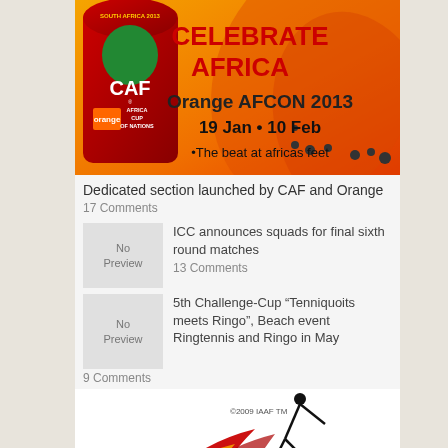[Figure (illustration): Orange AFCON 2013 banner - Celebrate Africa, 19 Jan - 10 Feb, The beat at africas feet, CAF Africa Cup of Nations logo]
Dedicated section launched by CAF and Orange
17 Comments
ICC announces squads for final sixth round matches
13 Comments
5th Challenge-Cup “Tenniquoits meets Ringo”, Beach event Ringtennis and Ringo in May
9 Comments
[Figure (logo): IAAF logo with athlete figure ©2009 IAAF TM]